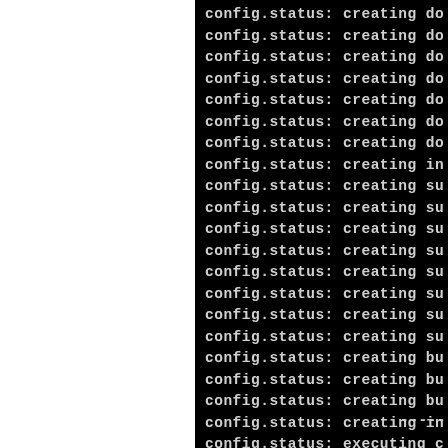[Figure (screenshot): Terminal/console output showing repeated 'config.status: creating ...' and 'config.status: executing ...' lines on a black background, partially cut off on the right side. The left portion of the page is white.]
config.status: creating do
config.status: creating do
config.status: creating do
config.status: creating do
config.status: creating do
config.status: creating do
config.status: creating do
config.status: creating in
config.status: creating su
config.status: creating su
config.status: creating su
config.status: creating su
config.status: creating su
config.status: creating su
config.status: creating su
config.status: creating su
config.status: creating bu
config.status: creating bu
config.status: creating bu
config.status: creating in
config.status: executing c
------------------------